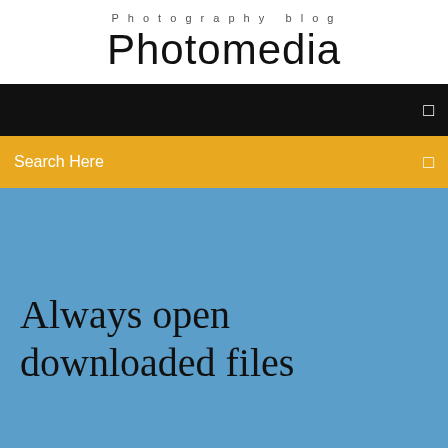Photography blog
Photomedia
[Figure (screenshot): Black navigation bar with a small white square icon on the right]
Search Here
Always open downloaded files